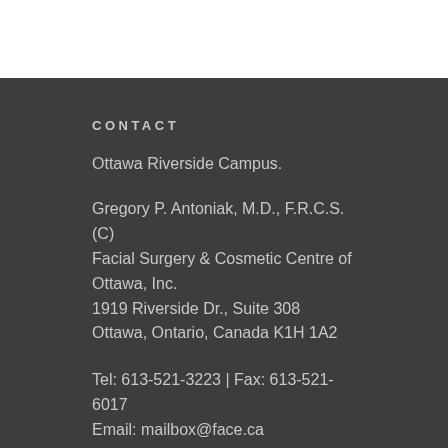CONTACT
Ottawa Riverside Campus.
Gregory P. Antoniak, M.D., F.R.C.S. (C)
Facial Surgery & Cosmetic Centre of Ottawa, Inc.
1919 Riverside Dr., Suite 308
Ottawa, Ontario, Canada K1H 1A2
Tel: 613-521-3223 | Fax: 613-521-6017
Email: mailbox@face.ca